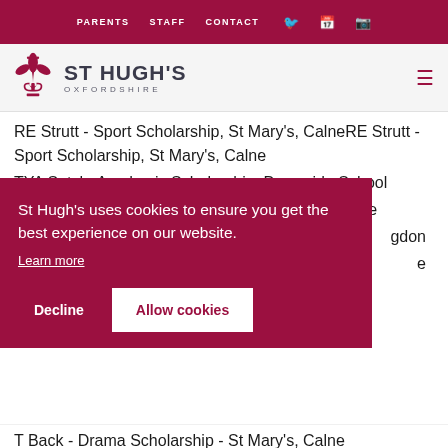PARENTS  STAFF  CONTACT
[Figure (logo): St Hugh's Oxfordshire school logo with fleur-de-lis emblem in dark red and school name text]
RE Strutt - Sport Scholarship, St Mary's, Calne
TYA Sutch, Academic Scholarship, Downside School
IS Walker - Sport Scholarship, Cheltenham College
[partially obscured] ...gdon
[partially obscured] ...e
St Hugh's uses cookies to ensure you get the best experience on our website.
Learn more
Decline  Allow cookies
T Back - Drama Scholarship - St Mary's, Calne